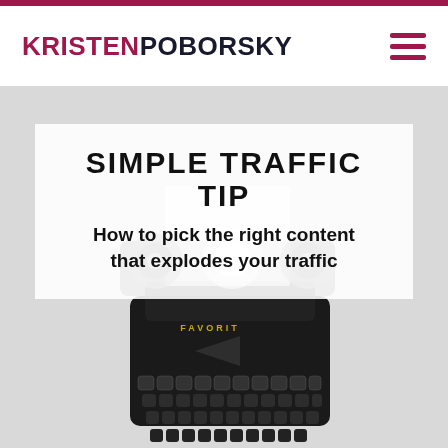KRISTENPOBORSKY
SIMPLE TRAFFIC TIP
How to pick the right content that explodes your traffic
[Figure (photo): Overhead view of a vintage black FAVORIT typewriter on a light grey background, photographed from above showing the keyboard and roller mechanism]